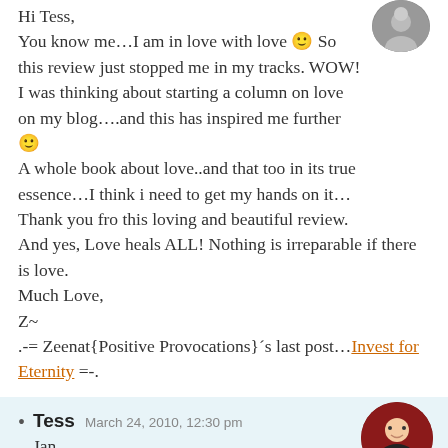Hi Tess,
You know me…I am in love with love 🙂 So this review just stopped me in my tracks. WOW! I was thinking about starting a column on love on my blog….and this has inspired me further 🙂
A whole book about love..and that too in its true essence…I think i need to get my hands on it…
Thank you fro this loving and beautiful review.
And yes, Love heals ALL! Nothing is irreparable if there is love.
Much Love,
Z~
.-= Zeenat{Positive Provocations}´s last post…Invest for Eternity =-.
Tess  March 24, 2010, 12:30 pm
Jan,
Wow! That's powerful and it doesn't
[Figure (photo): Circular avatar photo of a person with head covering, positioned top right]
[Figure (photo): Circular avatar photo of a smiling woman with glasses and dark clothing on red background, positioned bottom right]